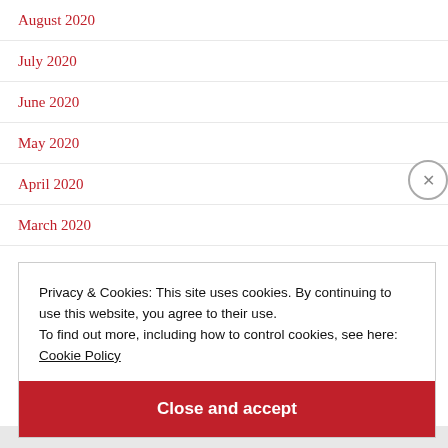August 2020
July 2020
June 2020
May 2020
April 2020
March 2020
Privacy & Cookies: This site uses cookies. By continuing to use this website, you agree to their use.
To find out more, including how to control cookies, see here:
Cookie Policy
Close and accept